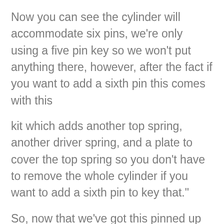Now you can see the cylinder will accommodate six pins, we're only using a five pin key so we won't put anything there, however, after the fact if you want to add a sixth pin this comes with this
kit which adds another top spring, another driver spring, and a plate to cover the top spring so you don't have to remove the whole cylinder if you want to add a sixth pin to key that."
So, now that we've got this pinned up and lined up, well, flush, confirmed all the pins are there we'll put this back in. And again, we have to be mindful that we have a detent there. So, there's probably a better tool than a fingernail but that works. So, now that's in place. Now if we were going to add a sixth pin to this